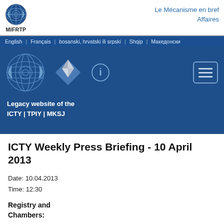[Figure (logo): UN globe logo small, with MIFRTP text below]
Le Mécanisme en bref
Affaires
English  |  Français  |  bosanski, hrvatski ili srpski  |  Shqip  |  Македонски
[Figure (screenshot): Blue banner with UN globe logo, ICTY diamond logo, info icon, and hamburger menu icon. Text: Legacy website of the ICTY | TPIY | MKSJ]
ICTY Weekly Press Briefing - 10 April 2013
Date: 10.04.2013
Time: 12:30
Registry and Chambers: